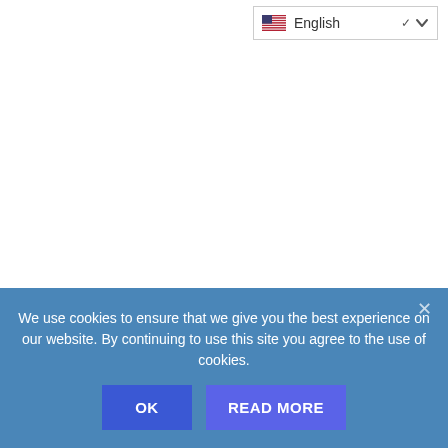[Figure (screenshot): Language selector dropdown showing US flag and 'English' text with a chevron/dropdown arrow, positioned at top right of page.]
Nice fresh barbecue sold by a street vendor in Barrio Santa Barbara.
We use cookies to ensure that we give you the best experience on our website. By continuing to use this site you agree to the use of cookies.
OK
READ MORE